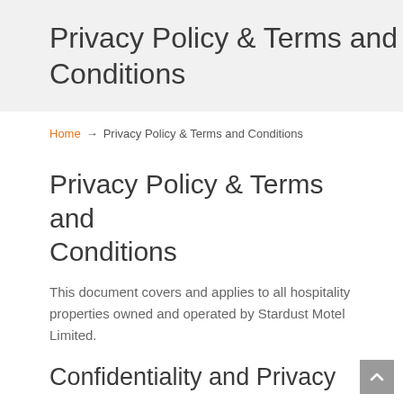Privacy Policy & Terms and Conditions
Home → Privacy Policy & Terms and Conditions
Privacy Policy & Terms and Conditions
This document covers and applies to all hospitality properties owned and operated by Stardust Motel Limited.
Confidentiality and Privacy
At Stardust Motel, protecting your privacy is very